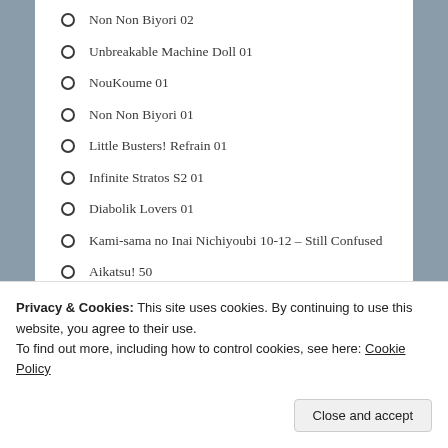Non Non Biyori 02
Unbreakable Machine Doll 01
NouKoume 01
Non Non Biyori 01
Little Busters! Refrain 01
Infinite Stratos S2 01
Diabolik Lovers 01
Kami-sama no Inai Nichiyoubi 10-12 – Still Confused
Aikatsu! 50
To Aru Kagaku no Railgun S
DECIPHERED MELODY
An error has occurred; the feed is probably down. Try again later.
Privacy & Cookies: This site uses cookies. By continuing to use this website, you agree to their use.
To find out more, including how to control cookies, see here: Cookie Policy